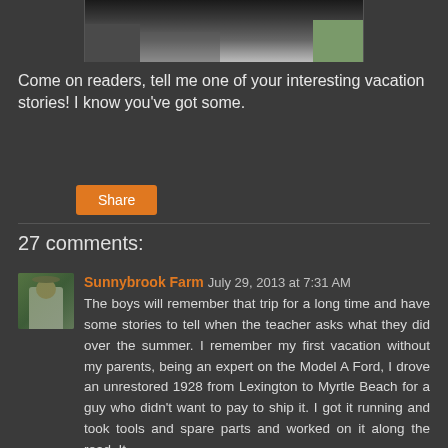[Figure (photo): Cropped photo showing a person's hands/lap, dark background with partial view]
Come on readers, tell me one of your interesting vacation stories!  I know you've got some.
Share
27 comments:
[Figure (photo): Avatar photo of Sunnybrook Farm commenter - person wearing hat outdoors]
Sunnybrook Farm July 29, 2013 at 7:31 AM
The boys will remember that trip for a long time and have some stories to tell when the teacher asks what they did over the summer. I remember my first vacation without my parents, being an expert on the Model A Ford, I drove an unrestored 1928 from Lexington to Myrtle Beach for a guy who didn't want to pay to ship it. I got it running and took tools and spare parts and worked on it along the road. It